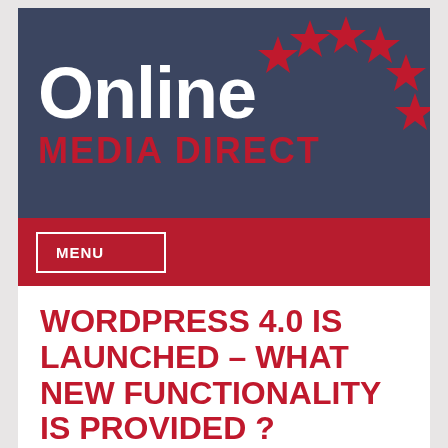[Figure (logo): Online Media Direct logo with dark blue background, white 'Online' text, red 'MEDIA DIRECT' text, and red stars arranged in an arc on the right side]
MENU
WORDPRESS 4.0 IS LAUNCHED – WHAT NEW FUNCTIONALITY IS PROVIDED ?
PUBLISHED BY GARRY PICKLES+ ON SEPTEMBER 6, 2014